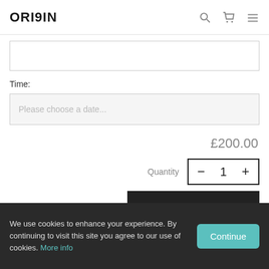ORIGIN
[Figure (other): Empty text input field]
Time:
[Figure (other): Date picker input field with placeholder text: Please choose a date...]
£200.00
Quantity
[Figure (other): Quantity stepper control showing minus button, number 1, and plus button]
[Figure (other): ADD TO CART button]
We use cookies to enhance your experience. By continuing to visit this site you agree to our use of cookies. More info